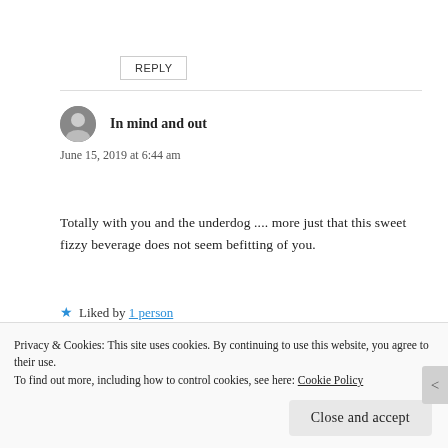REPLY
In mind and out
June 15, 2019 at 6:44 am
Totally with you and the underdog .... more just that this sweet fizzy beverage does not seem befitting of you.
Liked by 1 person
Privacy & Cookies: This site uses cookies. By continuing to use this website, you agree to their use. To find out more, including how to control cookies, see here: Cookie Policy
Close and accept